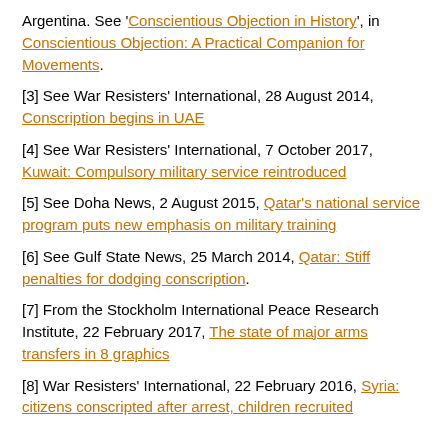Argentina. See 'Conscientious Objection in History', in Conscientious Objection: A Practical Companion for Movements.
[3] See War Resisters' International, 28 August 2014, Conscription begins in UAE
[4] See War Resisters' International, 7 October 2017, Kuwait: Compulsory military service reintroduced
[5] See Doha News, 2 August 2015, Qatar's national service program puts new emphasis on military training
[6] See Gulf State News, 25 March 2014, Qatar: Stiff penalties for dodging conscription.
[7] From the Stockholm International Peace Research Institute, 22 February 2017, The state of major arms transfers in 8 graphics
[8] War Resisters' International, 22 February 2016, Syria: citizens conscripted after arrest, children recruited